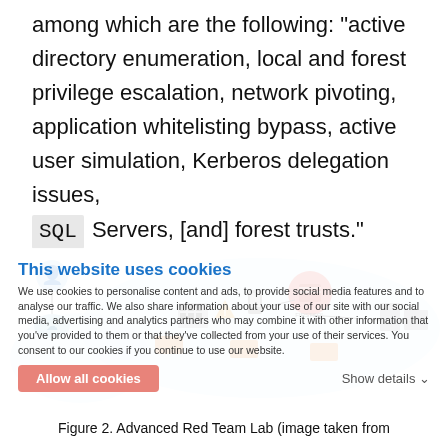among which are the following: "active directory enumeration, local and forest privilege escalation, network pivoting, application whitelisting bypass, active user simulation, Kerberos delegation issues, SQL Servers, [and] forest trusts."
[Figure (infographic): Advanced Red Team Lab network diagram (partially obscured by a cookie consent overlay). The diagram shows interconnected servers, clients, and network nodes arranged in a cloud topology. A cookie consent popup reads: 'This website uses cookies. We use cookies to personalise content and ads, to provide social media features and to analyse our traffic. We also share information about your use of our site with our social media, advertising and analytics partners who may combine it with other information that you've provided to them or that they've collected from your use of their services. You consent to our cookies if you continue to use our website.' with an 'Allow all cookies' button and 'Show details' link.]
Figure 2. Advanced Red Team Lab (image taken from